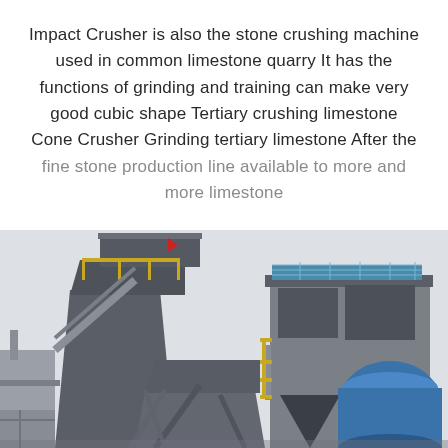Impact Crusher is also the stone crushing machine used in common limestone quarry It has the functions of grinding and training can make very good cubic shape Tertiary crushing limestone Cone Crusher Grinding tertiary limestone After the fine stone production line available to more and more limestone
[Figure (photo): Photograph of a large industrial stone crushing plant facility with multiple tall dark-colored processing towers, metal staircases and walkways with yellow railings, structural steel framework, and a large blue cylindrical component (likely a cone crusher) visible on the right side. The structures are photographed from below against a pale grey-white sky.]